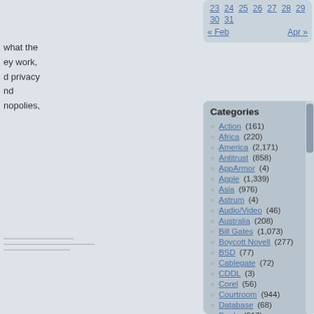what the
ey work,
d privacy
nd
nopolies,
[Figure (screenshot): Partial calendar widget showing dates 23-31 with navigation links « Feb and Apr »]
Categories
Action (161)
Africa (220)
America (2,171)
Antitrust (858)
AppArmor (4)
Apple (1,339)
Asia (976)
Astrum (4)
Audio/Video (46)
Australia (208)
Bill Gates (1,073)
Boycott Novell (277)
BSD (77)
Cablegate (72)
CDDL (3)
Corel (56)
Courtroom (944)
Database (68)
Deals (317)
Debian (212)
and
Look